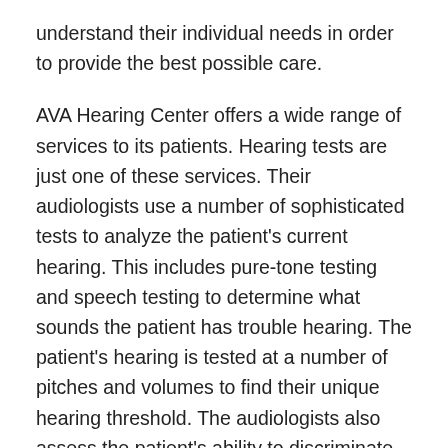understand their individual needs in order to provide the best possible care.
AVA Hearing Center offers a wide range of services to its patients. Hearing tests are just one of these services. Their audiologists use a number of sophisticated tests to analyze the patient's current hearing. This includes pure-tone testing and speech testing to determine what sounds the patient has trouble hearing. The patient's hearing is tested at a number of pitches and volumes to find their unique hearing threshold. The audiologists also assess the patient's ability to discriminate speech and their brain's ability to filter speech from background noise. All of these factors are taken into account to create a personalized treatment recommendation for each